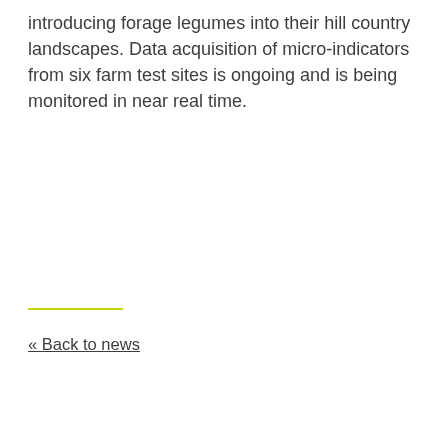introducing forage legumes into their hill country landscapes. Data acquisition of micro-indicators from six farm test sites is ongoing and is being monitored in near real time.
« Back to news